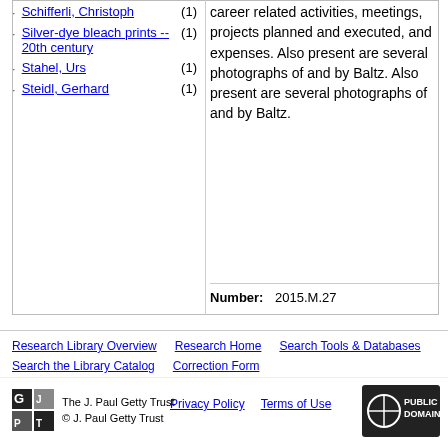Schifferli, Christoph (1)
Silver-dye bleach prints -- 20th century (1)
Stahel, Urs (1)
Steidl, Gerhard (1)
career related activities, meetings, projects planned and executed, and expenses. Also present are several photographs of and by Baltz. Also present are several photographs of and by Baltz.
Number: 2015.M.27
Research Library Overview   Research Home   Search Tools & Databases   Search the Library Catalog   Correction Form
The J. Paul Getty Trust © J. Paul Getty Trust
Privacy Policy   Terms of Use